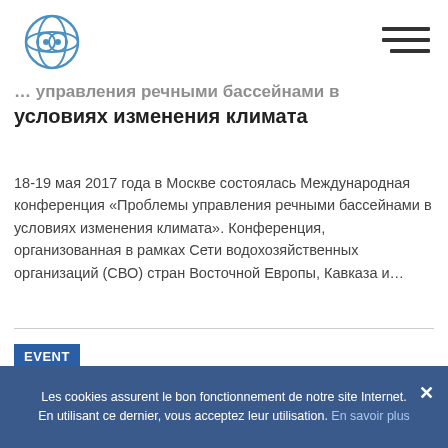[Logo] [Hamburger menu]
… условиях изменения климата
18-19 мая 2017 года в Москве состоялась Международная конференция «Проблемы управления речными бассейнами в условиях изменения климата». Конференция, организованная в рамках Сети водохозяйственных организаций (СВО) стран Восточной Европы, Кавказа и…
EVENT
EECCA NWO International Conference : Challenges of river basin management in context of climate
Les cookies assurent le bon fonctionnement de notre site Internet. En utilisant ce dernier, vous acceptez leur utilisation. En savoir plus